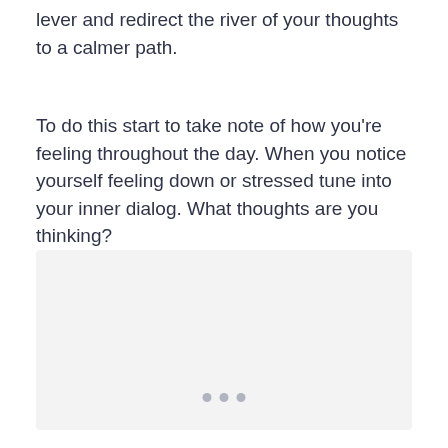lever and redirect the river of your thoughts to a calmer path.
To do this start to take note of how you're feeling throughout the day. When you notice yourself feeling down or stressed tune into your inner dialog. What thoughts are you thinking?
[Figure (other): A light grey rectangular box with three small grey dots at the bottom center, indicating a placeholder or interactive card element.]